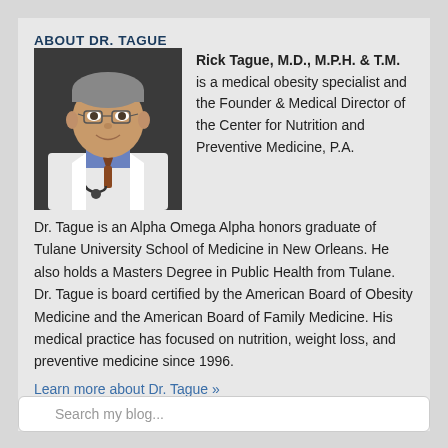ABOUT DR. TAGUE
[Figure (photo): Professional headshot of Dr. Rick Tague in a white coat and stethoscope]
Rick Tague, M.D., M.P.H. & T.M. is a medical obesity specialist and the Founder & Medical Director of the Center for Nutrition and Preventive Medicine, P.A.
Dr. Tague is an Alpha Omega Alpha honors graduate of Tulane University School of Medicine in New Orleans. He also holds a Masters Degree in Public Health from Tulane. Dr. Tague is board certified by the American Board of Obesity Medicine and the American Board of Family Medicine. His medical practice has focused on nutrition, weight loss, and preventive medicine since 1996.
Learn more about Dr. Tague »